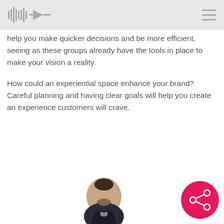[Logo] [Hamburger menu]
help you make quicker decisions and be more efficient, seeing as these groups already have the tools in place to make your vision a reality.
How could an experiential space enhance your brand? Careful planning and having clear goals will help you create an experience customers will crave.
[Figure (photo): Headshot photo of a man with short dark hair and a beard, wearing a dark jacket, smiling slightly, positioned at the bottom center of the page.]
[Figure (other): A circular hot-pink/red button with a share/network icon (three connected dots) in white, positioned at the bottom right of the page.]